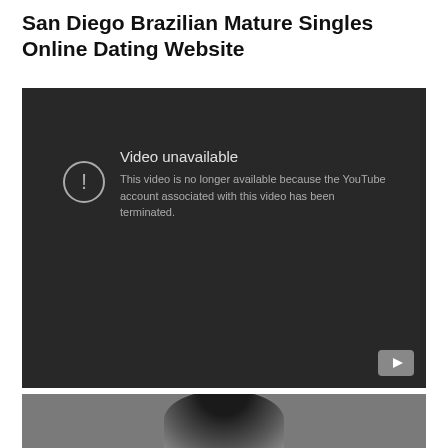San Diego Brazilian Mature Singles Online Dating Website
[Figure (screenshot): Embedded YouTube video player showing an error message: 'Video unavailable. This video is no longer available because the YouTube account associated with this video has been terminated.' Dark background with YouTube logo in bottom-right corner.]
[Figure (photo): Bottom portion of a person's head with dark hair against a grey background, cropped at bottom of page.]